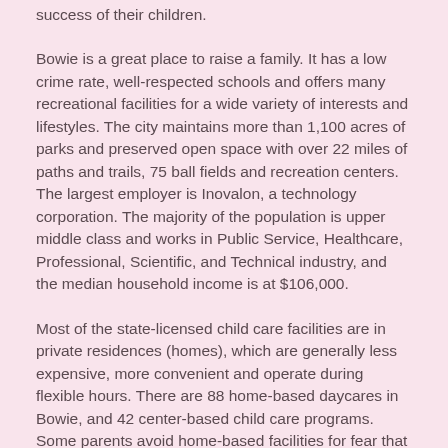success of their children.
Bowie is a great place to raise a family. It has a low crime rate, well-respected schools and offers many recreational facilities for a wide variety of interests and lifestyles. The city maintains more than 1,100 acres of parks and preserved open space with over 22 miles of paths and trails, 75 ball fields and recreation centers. The largest employer is Inovalon, a technology corporation. The majority of the population is upper middle class and works in Public Service, Healthcare, Professional, Scientific, and Technical industry, and the median household income is at $106,000.
Most of the state-licensed child care facilities are in private residences (homes), which are generally less expensive, more convenient and operate during flexible hours. There are 88 home-based daycares in Bowie, and 42 center-based child care programs. Some parents avoid home-based facilities for fear that they are not as safe or well-managed, but that is not the case in Maryland where regulations and requirements are stringent. Formal child care is required by law to be registered. There are two types of providers in a home setting: Family Child Care Homes provide care for up to 8 children and Large Family Child Care Homes care for up to 12 children. Child Care Centers are approved to care for a specific number of children depending on the